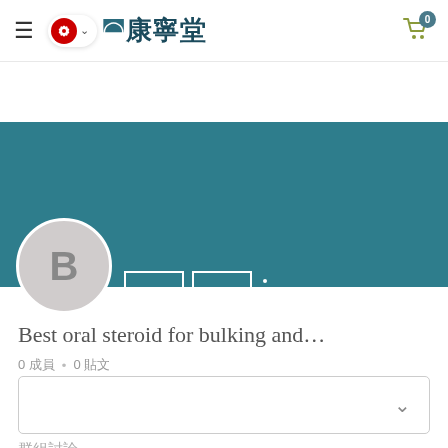康寧堂 — Navigation bar with hamburger menu, HK flag, logo, and cart icon
[Figure (screenshot): Teal/dark-cyan profile banner background with two outline button placeholders and a three-dot menu icon]
[Figure (illustration): Circular grey avatar with letter B]
Best oral steroid for bulking and...
0 成員 • 0 貼文
[Figure (screenshot): Dropdown selector box with chevron]
群組討論